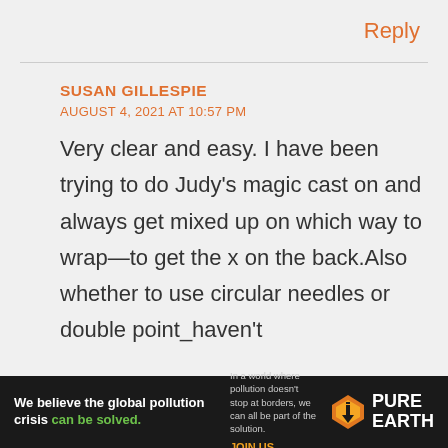Reply
SUSAN GILLESPIE
AUGUST 4, 2021 AT 10:57 PM
Very clear and easy. I have been trying to do Judy's magic cast on and always get mixed up on which way to wrap—to get the x on the back.Also whether to use circular needles or double point_haven't
[Figure (other): Pure Earth advertisement banner: 'We believe the global pollution crisis can be solved.' with Pure Earth logo]